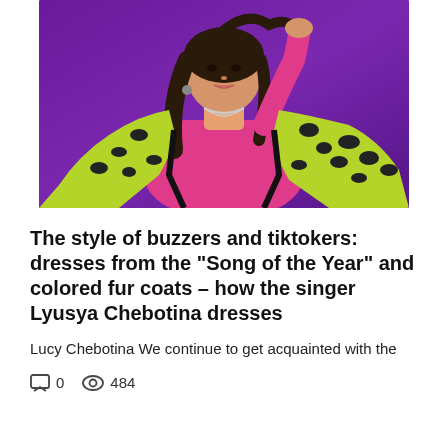[Figure (photo): A young woman with dark hair posing against a purple background. She wears a hot pink long-sleeve turtleneck top and a yellow-green leopard print fur coat with black accents.]
The style of buzzers and tiktokers: dresses from the “Song of the Year” and colored fur coats – how the singer Lyusya Chebotina dresses
Lucy Chebotina We continue to get acquainted with the
□ 0   ◎ 484